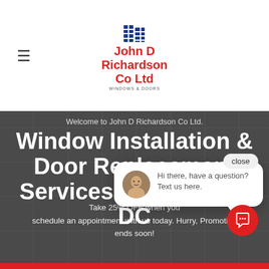[Figure (logo): John D Richardson Co Ltd Windows & Doors logo with blue window icon and red text]
Welcome to John D Richardson Co Ltd.
Window Installation & Door Replacement Services Washington DC
Take 25% OFF when you schedule an appointment with us today. Hurry, Promotion ends soon!
[Figure (screenshot): Chat widget popup with avatar photo of man, close button, and message: Hi there, have a question? Text us here.]